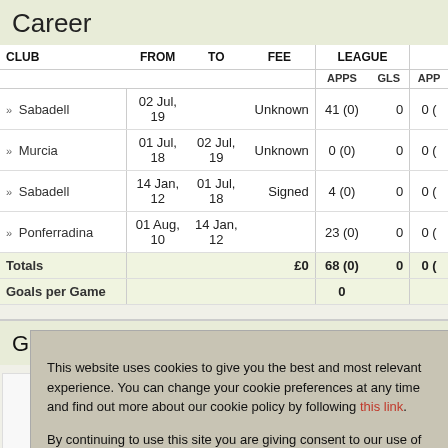Career
| CLUB | FROM | TO | FEE | LEAGUE APPS | LEAGUE GLS | APP... |
| --- | --- | --- | --- | --- | --- | --- |
| >> Sabadell | 02 Jul, 19 |  | Unknown | 41 (0) | 0 | 0 ( |
| >> Murcia | 01 Jul, 18 | 02 Jul, 19 | Unknown | 0 (0) | 0 | 0 ( |
| >> Sabadell | 14 Jan, 12 | 01 Jul, 18 | Signed | 4 (0) | 0 | 0 ( |
| >> Ponferradina | 01 Aug, 10 | 14 Jan, 12 |  | 23 (0) | 0 | 0 ( |
| Totals |  |  | £0 | 68 (0) | 0 | 0 ( |
| Goals per Game |  |  |  | 0 |  |  |
Games played by Ian Mackay in 2021/2022
2021/2
This website uses cookies to give you the best and most relevant experience. You can change your cookie preferences at any time and find out more about our cookie policy by following this link.

By continuing to use this site you are giving consent to our use of cookies on Racing Post websites in accordance with our cookie policy.